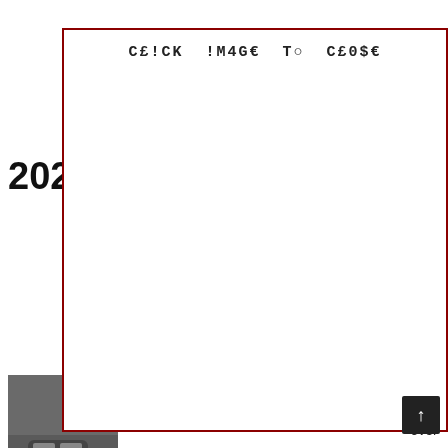202... In Indi...
[Figure (photo): Camouflaged SUV vehicle photographed outdoors, visible in bottom-left behind modal overlay]
...a, ...over ...s any namep... ...n 2016. ...s go back f... ...come back t... ...021 Defend... ...oxy type, n...
[Figure (screenshot): Modal dialog overlay with red border containing text 'CE!CK !M4GE TO CE0$E' in monospace font on white background]
CE!CK !M4GE TO CE0$E